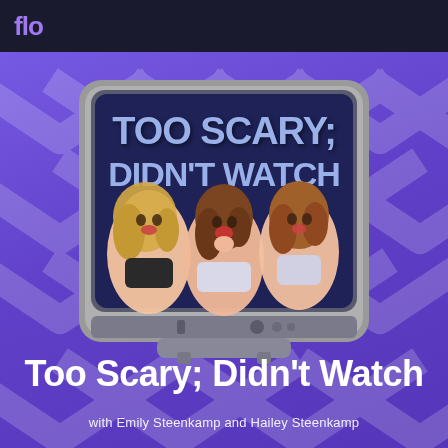flo
[Figure (illustration): A retro TV set illustration showing the podcast logo 'Too Scary; Didn't Watch' with three illustrated young women looking scared, set against a dark navy background. The TV has a gray rounded rectangular body with buttons.]
Too Scary; Didn't Watch
with Emily Steenkamp and Hailey Steenkamp